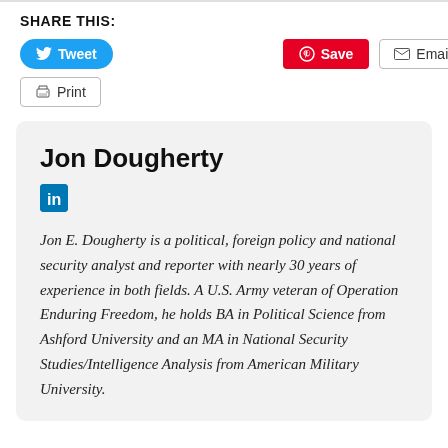SHARE THIS:
[Figure (infographic): Social share buttons: Tweet (Twitter/blue pill), Save (Pinterest/red), Email (grey outlined), Print (grey outlined)]
Jon Dougherty
[Figure (logo): LinkedIn logo icon (blue square with 'in')]
Jon E. Dougherty is a political, foreign policy and national security analyst and reporter with nearly 30 years of experience in both fields. A U.S. Army veteran of Operation Enduring Freedom, he holds BA in Political Science from Ashford University and an MA in National Security Studies/Intelligence Analysis from American Military University.